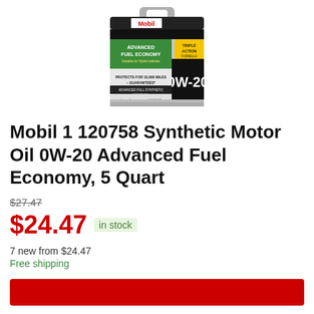[Figure (photo): Mobil 1 0W-20 Advanced Fuel Economy synthetic motor oil 5 quart container with green and black label showing dexos1 certification and NASCAR logo]
Mobil 1 120758 Synthetic Motor Oil 0W-20 Advanced Fuel Economy, 5 Quart
$27.47 (strikethrough old price)
$24.47 in stock
7 new from $24.47
Free shipping